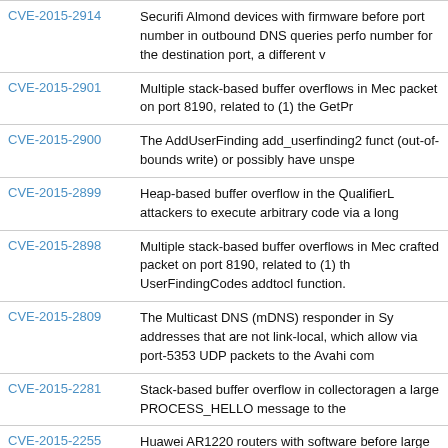| CVE ID | Description |
| --- | --- |
| CVE-2015-2914 | Securifi Almond devices with firmware before port number in outbound DNS queries perfo number for the destination port, a different v |
| CVE-2015-2901 | Multiple stack-based buffer overflows in Mec packet on port 8190, related to (1) the GetPr |
| CVE-2015-2900 | The AddUserFinding add_userfinding2 funct (out-of-bounds write) or possibly have unspe |
| CVE-2015-2899 | Heap-based buffer overflow in the QualifierL attackers to execute arbitrary code via a long |
| CVE-2015-2898 | Multiple stack-based buffer overflows in Mec crafted packet on port 8190, related to (1) th UserFindingCodes addtocl function. |
| CVE-2015-2809 | The Multicast DNS (mDNS) responder in Sy addresses that are not link-local, which allow via port-5353 UDP packets to the Avahi com |
| CVE-2015-2281 | Stack-based buffer overflow in collectoragen a large PROCESS_HELLO message to the |
| CVE-2015-2255 | Huawei AR1220 routers with software before large amount of traffic from the GE port to th |
| CVE-2015-2177 | Siemens SIMATIC S7-300 CPU devices allo 102 or (2) Profibus. |
| CVE-2015-2122 | The REST layer on HP SDN VAN Controller port. |
| CVE-2015-???? | The ... in IBM Tivoli ... by ... |